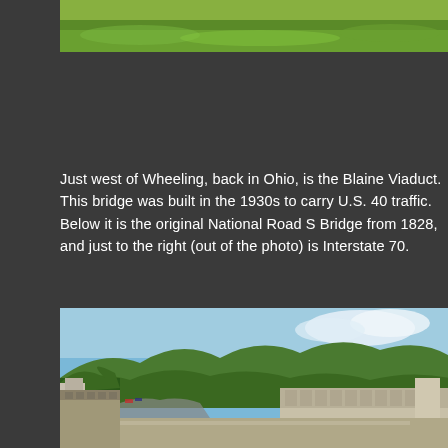[Figure (photo): Top portion of a photo showing green grassy hillside, partially cropped at the top of the page]
Just west of Wheeling, back in Ohio, is the Blaine Viaduct. This bridge was built in the 1930s to carry U.S. 40 traffic. Below it is the original National Road S Bridge from 1828, and just to the right (out of the photo) is Interstate 70.
[Figure (photo): View from the Blaine Viaduct bridge deck showing the road below winding through a green valley with wooded hills in the background, blue sky with clouds, and the concrete bridge railing in the foreground]